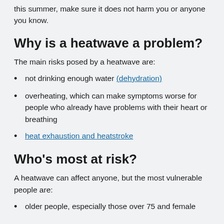this summer, make sure it does not harm you or anyone you know.
Why is a heatwave a problem?
The main risks posed by a heatwave are:
not drinking enough water (dehydration)
overheating, which can make symptoms worse for people who already have problems with their heart or breathing
heat exhaustion and heatstroke
Who's most at risk?
A heatwave can affect anyone, but the most vulnerable people are:
older people, especially those over 75 and female